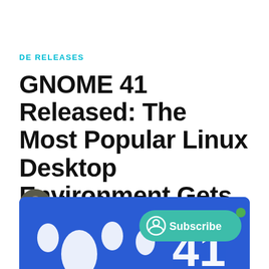DE RELEASES
GNOME 41 Released: The Most Popular Linux Desktop Environment Gets Better
Ankush Das
Sep 23, 2021 · 5 min
[Figure (screenshot): Hero image with blue background showing GNOME logo footprint in white and a teal Subscribe button overlay]